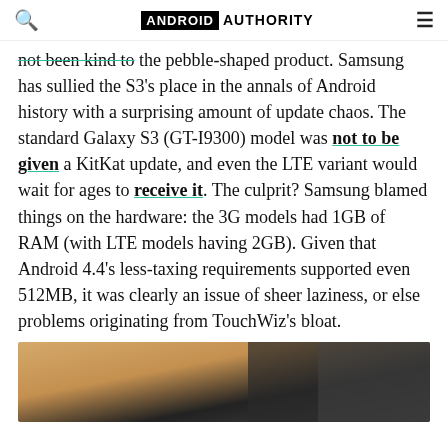ANDROID AUTHORITY
not been kind to the pebble-shaped product. Samsung has sullied the S3's place in the annals of Android history with a surprising amount of update chaos. The standard Galaxy S3 (GT-I9300) model was not to be given a KitKat update, and even the LTE variant would wait for ages to receive it. The culprit? Samsung blamed things on the hardware: the 3G models had 1GB of RAM (with LTE models having 2GB). Given that Android 4.4's less-taxing requirements supported even 512MB, it was clearly an issue of sheer laziness, or else problems originating from TouchWiz's bloat.
[Figure (photo): Partial photo of a device, showing brown/tan and dark surfaces — appears to be a Samsung Galaxy S3 or related hardware]